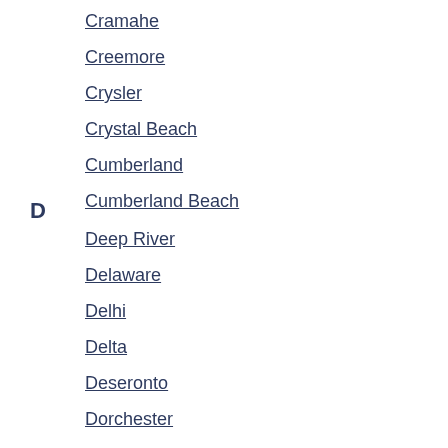Cramahe
Creemore
Crysler
Crystal Beach
Cumberland
Cumberland Beach
D
Deep River
Delaware
Delhi
Delta
Deseronto
Dorchester
Dorset
Douro-Dummer
Drayton